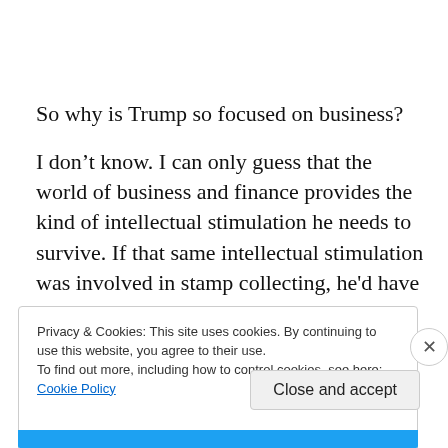So why is Trump so focused on business?
I don’t know. I can only guess that the world of business and finance provides the kind of intellectual stimulation he needs to survive. If that same intellectual stimulation was involved in stamp collecting, he’d have the biggest stamp collection in the world.
Privacy & Cookies: This site uses cookies. By continuing to use this website, you agree to their use.
To find out more, including how to control cookies, see here: Cookie Policy
Close and accept